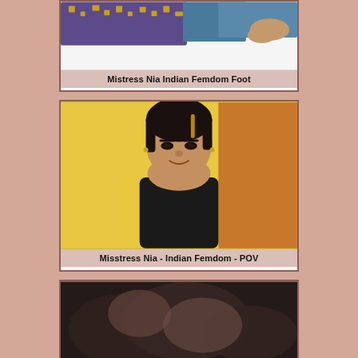[Figure (photo): Video thumbnail showing person lying on a surface wearing colorful patterned clothing, view of lower body/legs]
Mistress Nia Indian Femdom Foot
[Figure (photo): Video thumbnail showing a young woman with dark hair, wearing a black top, against a yellow-orange background, looking down and smiling]
Misstress Nia - Indian Femdom - POV
[Figure (photo): Video thumbnail showing close-up dark/blurry image, partial view of a person]